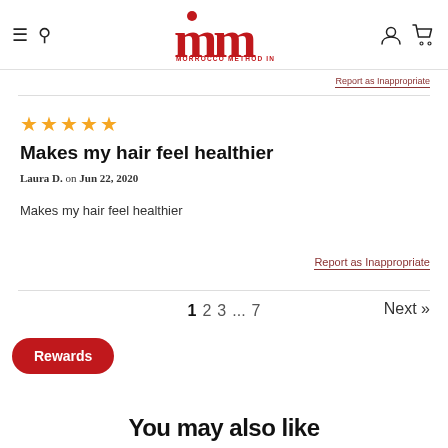[Figure (logo): Morrocco Method Int'l logo with red MM letters and dot accent]
Report as Inappropriate
★★★★★
Makes my hair feel healthier
Laura D. on Jun 22, 2020
Makes my hair feel healthier
Report as Inappropriate
1 2 3 ... 7    Next »
Rewards
You may also like